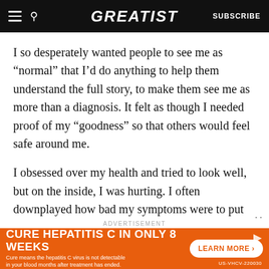GREATIST | SUBSCRIBE
I so desperately wanted people to see me as “normal” that I’d do anything to help them understand the full story, to make them see me as more than a diagnosis. It felt as though I needed proof of my “goodness” so that others would feel safe around me.
I obsessed over my health and tried to look well, but on the inside, I was hurting. I often downplayed how bad my symptoms were to put others at ease about my well-being.
ADVERTISEMENT
[Figure (other): Orange advertisement banner: CURE HEPATITIS C IN ONLY 8 WEEKS with LEARN MORE button. Subtext: Cure means the hepatitis C virus is not detectable in your blood months after treatment has ended. US-VHCV-220030]